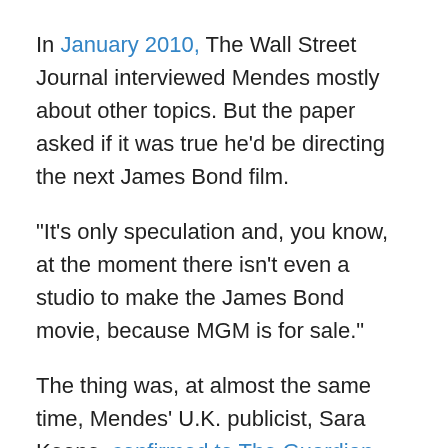In January 2010, The Wall Street Journal interviewed Mendes mostly about other topics. But the paper asked if it was true he'd be directing the next James Bond film.
“It’s only speculation and, you know, at the moment there isn’t even a studio to make the James Bond movie, because MGM is for sale.”
The thing was, at almost the same time, Mendes’ U.K. publicist, Sara Keene, confirmed to The Guardian that Mendes was in talks about directing what would become Skyfall. “I can confirm that he has had a meeting, but Sam always has lots of projects on the table that he might direct next,”
In contrast, Boyle’s comments to Metro and other outlets were relatively straight forward. He said he planned to